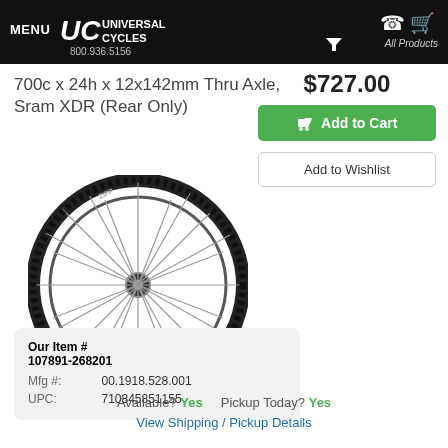MENU UC UNIVERSAL CYCLES 800.936.5156 All Products
700c x 24h x 12x142mm Thru Axle, Sram XDR (Rear Only)
$727.00
Add to Cart
Add to Wishlist
[Figure (photo): Black carbon road bicycle rear wheel with spokes, 700c size]
| Our Item # | 107891-268201 |
| Mfg #: | 00.1918.528.001 |
| UPC: | 710845851155 |
Available? Yes   Pickup Today? Yes
View Shipping / Pickup Details